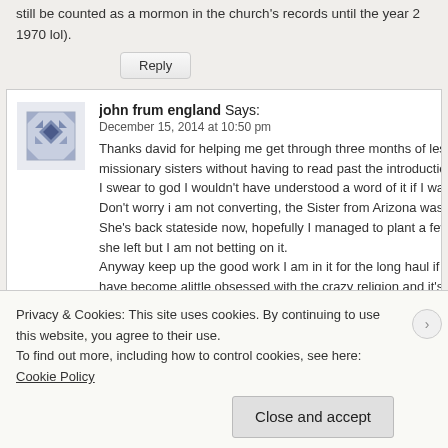still be counted as a mormon in the church's records until the year 2[0...] 1970 lol).
Reply
john frum england Says:
December 15, 2014 at 10:50 pm
Thanks david for helping me get through three months of lessons [with] missionary sisters without having to read past the introduction my[self]. I swear to god I wouldn't have understood a word of it if I was rea[ding]. Don't worry i am not converting, the Sister from Arizona was smo[king]. She's back stateside now, hopefully I managed to plant a few see[ds before] she left but I am not betting on it.
Anyway keep up the good work I am in it for the long haul if you c[an] have become alittle obsessed with the crazy religion and it's dubie[...]
Privacy & Cookies: This site uses cookies. By continuing to use this website, you agree to their use.
To find out more, including how to control cookies, see here: Cookie Policy
Close and accept